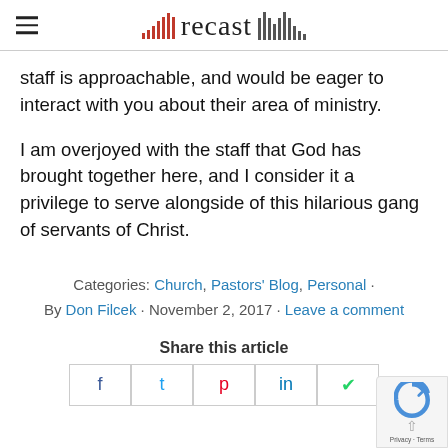recast
staff is approachable, and would be eager to interact with you about their area of ministry.
I am overjoyed with the staff that God has brought together here, and I consider it a privilege to serve alongside of this hilarious gang of servants of Christ.
Categories: Church, Pastors' Blog, Personal · By Don Filcek · November 2, 2017 · Leave a comment
Share this article